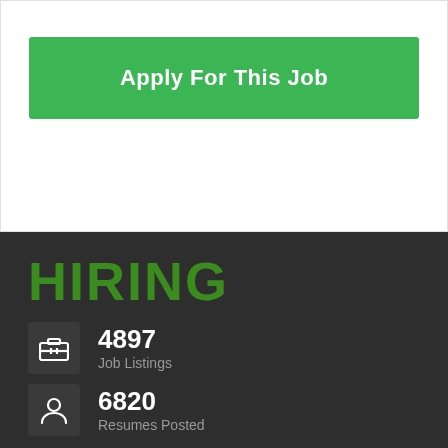Apply For This Job
HIRING
4897 Job Listings
6820 Resumes Posted